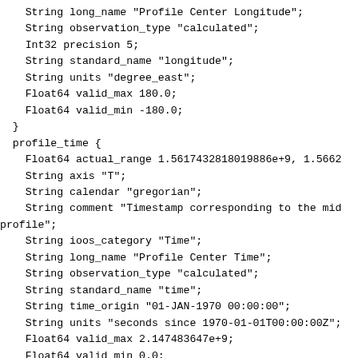String long_name "Profile Center Longitude";
    String observation_type "calculated";
    Int32 precision 5;
    String standard_name "longitude";
    String units "degree_east";
    Float64 valid_max 180.0;
    Float64 valid_min -180.0;
  }
  profile_time {
    Float64 actual_range 1.5617432818019886e+9, 1.5662
    String axis "T";
    String calendar "gregorian";
    String comment "Timestamp corresponding to the mid
profile";
    String ioos_category "Time";
    String long_name "Profile Center Time";
    String observation_type "calculated";
    String standard_name "time";
    String time_origin "01-JAN-1970 00:00:00";
    String units "seconds since 1970-01-01T00:00:00Z";
    Float64 valid_max 2.147483647e+9;
    Float64 valid_min 0.0;
  }
  sci_flbbcd_bb_units {
    Float32 _FillValue 9.96921e+36;